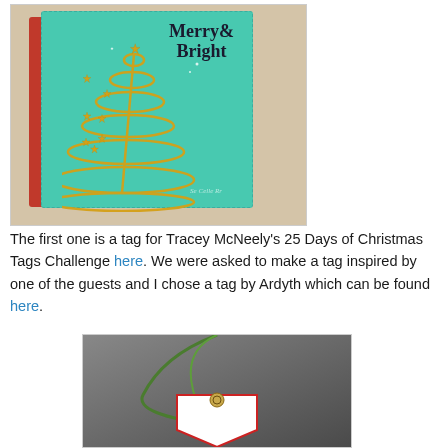[Figure (photo): A Christmas card featuring a gold wire/die-cut Christmas tree with star embellishments on a teal card with 'Merry & Bright' stamped text, layered on a red card base, photographed on a wooden surface.]
The first one is a tag for Tracey McNeely's 25 Days of Christmas Tags Challenge here. We were asked to make a tag inspired by one of the guests and I chose a tag by Ardyth which can be found here.
[Figure (photo): A white gift tag with a red border, a small metallic hole reinforcement, and a long curved green ribbon or grass blade, photographed against a gray background.]